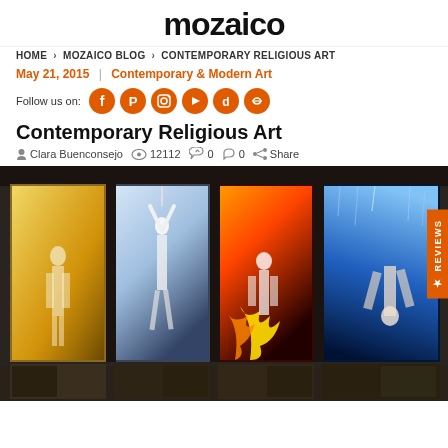mozaico
HOME > MOZAICO BLOG > CONTEMPORARY RELIGIOUS ART
May 21, 2015 | Contemporary & Modern Art
Follow us on: [social icons: Facebook, Pinterest, Instagram, YouTube, TikTok, Link]
Contemporary Religious Art
Clara Buenconsejo   12112   0   0   Share
[Figure (photo): Four illuminated video art panels in a dark room showing figures in elemental environments: a figure walking in golden light/dust, a figure suspended with arms raised in white clothing, a figure amid large flames, and an inverted figure in blue water/rain.]